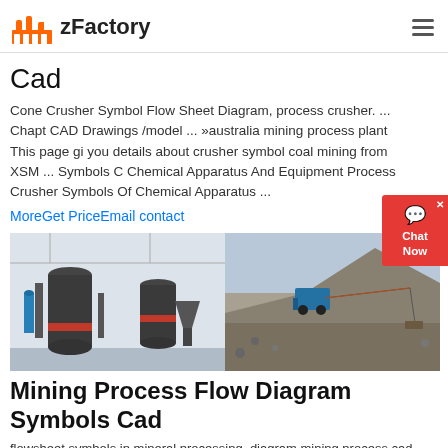zFactory
Cad
Cone Crusher Symbol Flow Sheet Diagram, process crusher. ... Chapter CAD Drawings /model ... »australia mining process plant This page gives you details about crusher symbol coal mining from XSM ... Symbols Of Chemical Apparatus And Equipment Process Crusher Symbols Of Chemical Apparatus ...
MoreGet PriceEmail contact
[Figure (photo): Two photos side by side: left shows industrial grinding mill machinery in a facility; right shows mining equipment and conveyor operating at an open-pit mine site with gravel mounds.]
Mining Process Flow Diagram Symbols Cad
flowsheet symbols in mineral processing. diagram mining process cad -